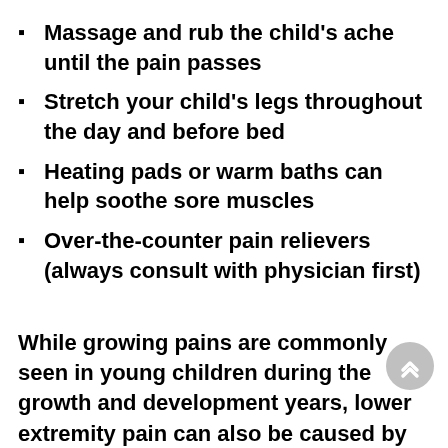Massage and rub the child's ache until the pain passes
Stretch your child's legs throughout the day and before bed
Heating pads or warm baths can help soothe sore muscles
Over-the-counter pain relievers (always consult with physician first)
While growing pains are commonly seen in young children during the growth and development years, lower extremity pain can also be caused by mechanical misalignments and structural imperfections. A thorough evaluation is crucial in order to